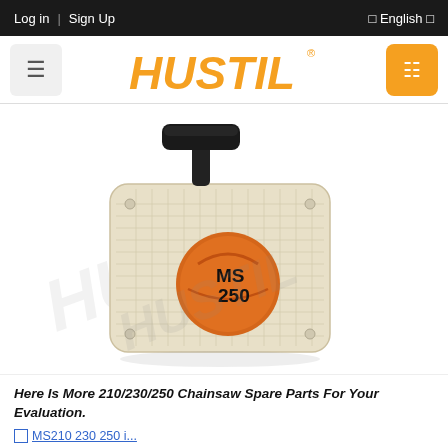Log in  |  Sign Up                                    [] English []
[Figure (logo): HUSTIL brand logo in orange italic bold font with registered trademark symbol, flanked by a gray menu button on the left and an orange cart/search button on the right]
[Figure (photo): Chainsaw recoil starter assembly part for MS 210/230/250 models. Cream/beige colored plastic housing with ribbed grid texture, black T-bar pull handle on top, and orange circular label reading MS 250. Watermark text HUSTIL overlaid diagonally on the product image.]
Here Is More 210/230/250 Chainsaw Spare Parts For Your Evaluation.
MS210 230 250 i...